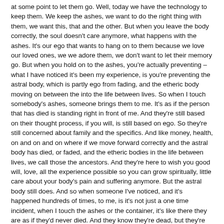at some point to let them go. Well, today we have the technology to keep them. We keep the ashes, we want to do the right thing with them, we want this, that and the other. But when you leave the body correctly, the soul doesn't care anymore, what happens with the ashes. It's our ego that wants to hang on to them because we love our loved ones, we we adore them, we don't want to let their memory go. But when you hold on to the ashes, you're actually preventing – what I have noticed it's been my experience, is you're preventing the astral body, which is partly ego from fading, and the etheric body moving on between the into the life between lives. So when I touch somebody's ashes, someone brings them to me. It's as if the person that has died is standing right in front of me. And they're still based on their thought process, if you will, is still based on ego. So they're still concerned about family and the specifics. And like money, health, on and on and on where if we move forward correctly and the astral body has died, or faded, and the etheric bodies in the life between lives, we call those the ancestors. And they're here to wish you good will, love, all the experience possible so you can grow spiritually, little care about your body's pain and suffering anymore. But the astral body still does. And so when someone I've noticed, and it's happened hundreds of times, to me, is it's not just a one time incident, when I touch the ashes or the container, it's like there they are as if they'd never died. And they know they're dead, but they're still hooked on the ego, because they haven't been able to be let go of yet. So the act of burying the ashes, scattering the ashes, you are mentally letting go of that contract with your loved ones. And that includes pets. And when you do that, it is the end of that connection to the physicalness of that person. And it enhances the connection to the soul of that person. The etheric body is gone, but a delightful thing takes over and